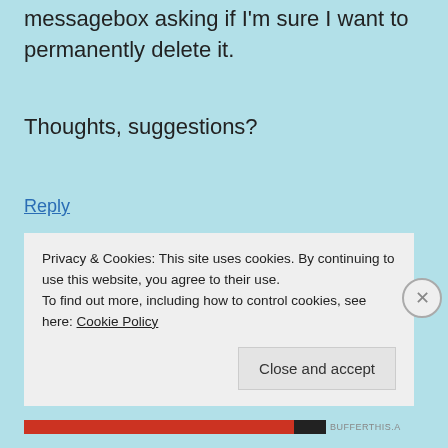messagebox asking if I'm sure I want to permanently delete it.
Thoughts, suggestions?
Reply
Mitch Garvis
January 10, 2015 at 8:27 am
Privacy & Cookies: This site uses cookies. By continuing to use this website, you agree to their use.
To find out more, including how to control cookies, see here: Cookie Policy
Close and accept